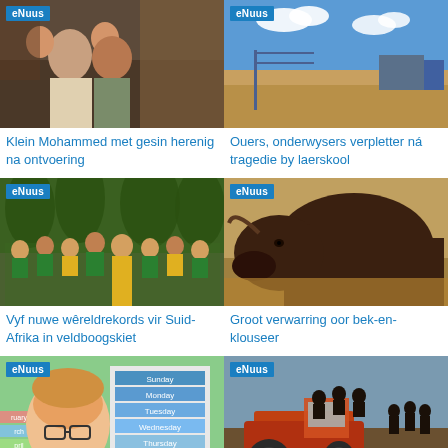[Figure (photo): Family photo: man with two young children]
Klein Mohammed met gesin herenig na ontvoering
[Figure (photo): Outdoor scene: dry landscape with blue sky and structures]
Ouers, onderwysers verpletter ná tragedie by laerskool
[Figure (photo): Group photo: people in green and yellow sports shirts outdoors]
Vyf nuwe wêreldrekords vir Suid-Afrika in veldboogskiet
[Figure (photo): Close-up of a dark brown bull grazing on dry grass]
Groot verwarring oor bek-en-klouseer
[Figure (photo): Child with glasses next to days-of-week calendar display]
[Figure (photo): People on a tractor in a dry field]